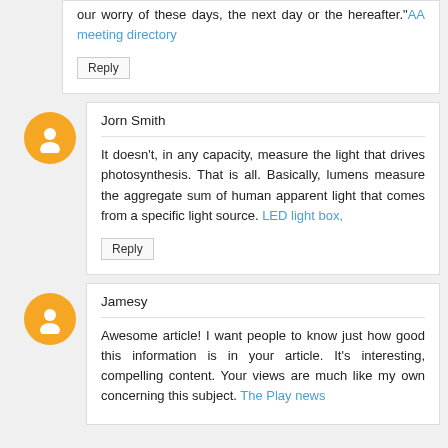our worry of these days, the next day or the hereafter."AA meeting directory
Reply
Jorn Smith
It doesn't, in any capacity, measure the light that drives photosynthesis. That is all. Basically, lumens measure the aggregate sum of human apparent light that comes from a specific light source. LED light box,
Reply
Jamesy
Awesome article! I want people to know just how good this information is in your article. It's interesting, compelling content. Your views are much like my own concerning this subject. The Play news